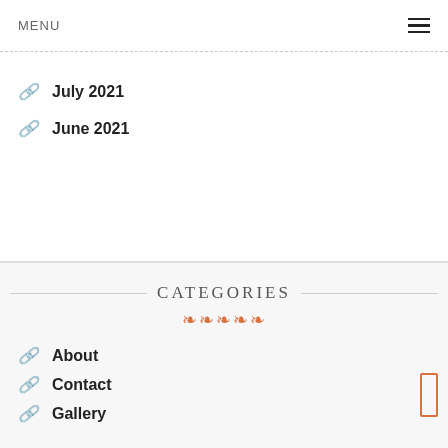MENU
July 2021
June 2021
CATEGORIES
About
Contact
Gallery